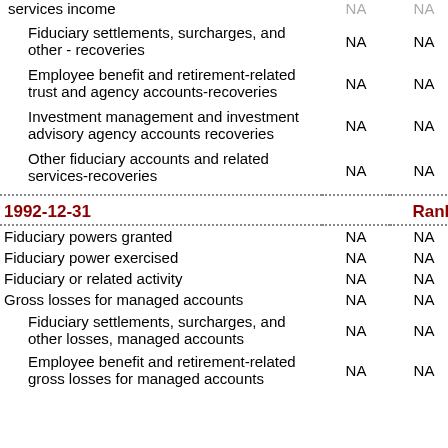| Description |  |  |
| --- | --- | --- |
| services income | NA | NA |
| Fiduciary settlements, surcharges, and other - recoveries | NA | NA |
| Employee benefit and retirement-related trust and agency accounts-recoveries | NA | NA |
| Investment management and investment advisory agency accounts recoveries | NA | NA |
| Other fiduciary accounts and related services-recoveries | NA | NA |
| 1992-12-31 |  | Rank |
| Fiduciary powers granted | NA | NA |
| Fiduciary power exercised | NA | NA |
| Fiduciary or related activity | NA | NA |
| Gross losses for managed accounts | NA | NA |
| Fiduciary settlements, surcharges, and other losses, managed accounts | NA | NA |
| Employee benefit and retirement-related gross losses for managed accounts | NA | NA |